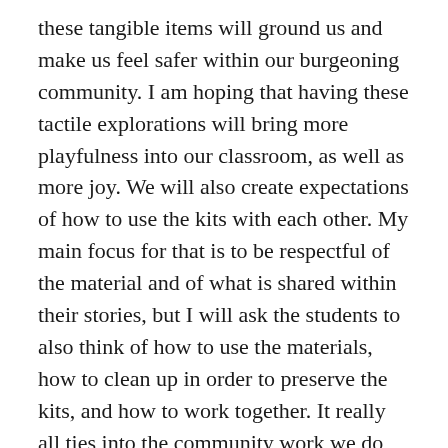these tangible items will ground us and make us feel safer within our burgeoning community. I am hoping that having these tactile explorations will bring more playfulness into our classroom, as well as more joy. We will also create expectations of how to use the kits with each other. My main focus for that is to be respectful of the material and of what is shared within their stories, but I will ask the students to also think of how to use the materials, how to clean up in order to preserve the kits, and how to work together. It really all ties into the community work we do throughout the year.
My own children helped me eagerly build the kits and have since then also used them. It has been amazing to see them build scenes, stories,